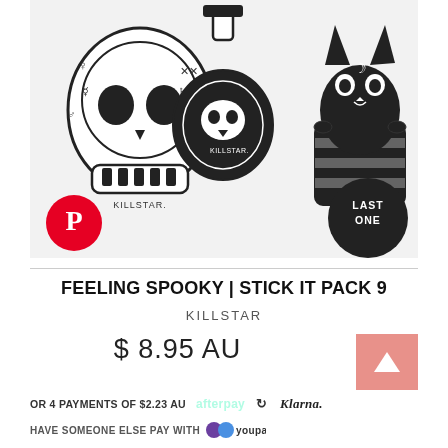[Figure (photo): Three KILLSTAR gothic stickers on white background: a skull with occult symbols, a potion bottle with skull inside, and a black cat in a striped cup. Pinterest button bottom-left, 'LAST ONE' badge bottom-right.]
FEELING SPOOKY | STICK IT PACK 9
KILLSTAR
$ 8.95 AU
OR 4 PAYMENTS OF $2.23 AU afterpay Klarna.
HAVE SOMEONE ELSE PAY WITH youpay